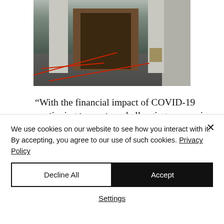[Figure (photo): Exterior photo of a building entrance with concrete pillars, wooden doors, and a brick/paved ground area with orange/red taped lines marking distances. A trash receptacle is visible on the right side of the entrance.]
“With the financial impact of COVID-19 continuing to create a challenging economic climate, the Administration has presented a preliminary budget that
We use cookies on our website to see how you interact with it. By accepting, you agree to our use of such cookies. Privacy Policy
Decline All
Accept
Settings